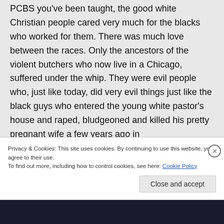PCBS you've been taught, the good white Christian people cared very much for the blacks who worked for them. There was much love between the races. Only the ancestors of the violent butchers who now live in a Chicago, suffered under the whip. They were evil people who, just like today, did very evil things just like the black guys who entered the young white pastor's house and raped, bludgeoned and killed his pretty pregnant wife a few years ago in
Privacy & Cookies: This site uses cookies. By continuing to use this website, you agree to their use.
To find out more, including how to control cookies, see here: Cookie Policy
Close and accept